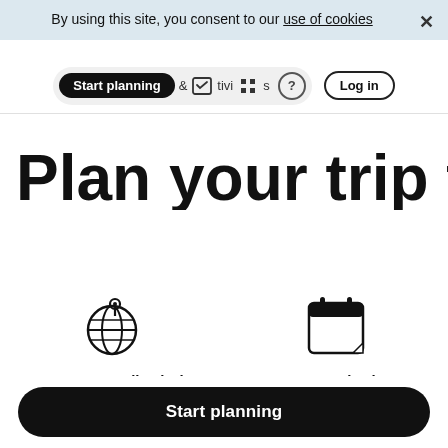By using this site, you consent to our use of cookies
[Figure (screenshot): Navigation bar with Start planning tab selected, activities icons, help icon, and Log in button]
Plan your trip t
[Figure (illustration): Globe with location pin icon for Get a personalized trip feature]
Get a personalized trip
A full day by day itinerary based on your preferences
[Figure (illustration): Calendar icon for Customize it feature]
Customize it
Refine your trip. We'll find best routes and sche
Start planning